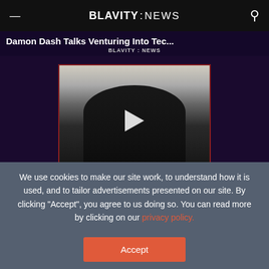BLAVITY : NEWS
[Figure (screenshot): Video thumbnail for 'Damon Dash Talks Venturing Into Tec...' on Blavity News, showing a man with a play button overlay on a dark purple background.]
We use cookies to make our site work, to understand how it is used, and to tailor advertisements presented on our site. By clicking "Accept", you agree to us doing so. You can read more by clicking on our privacy policy.
Accept